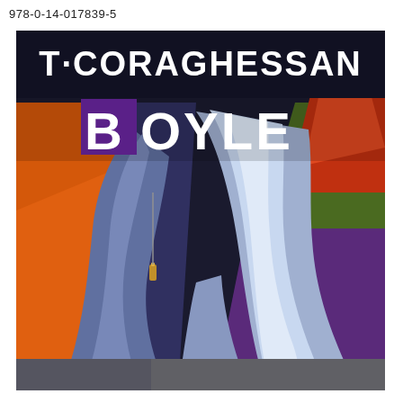978-0-14-017839-5
[Figure (illustration): Book cover illustration for T. Coraghessan Boyle. Dark background with bold white text 'T·CORAGHESSAN' at top and 'BOYLE' below with a purple square accent on the B. The main illustration shows two stylized human legs wearing high-heeled boots in light blue/lavender tones, with vivid orange, red, green and purple abstract background elements. The bottom portion fades into a dark gray bar.]